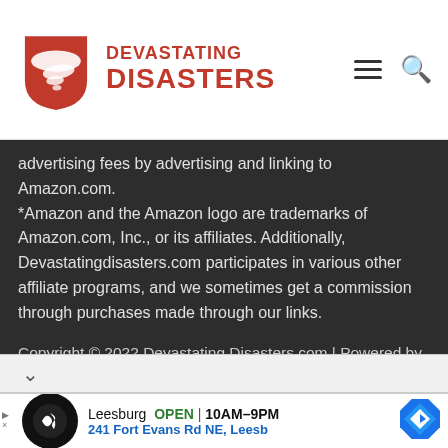[Figure (logo): Devastating Disasters logo with red tornado/shield icon and red bold text reading DEVASTATING DISASTERS]
advertising fees by advertising and linking to Amazon.com. *Amazon and the Amazon logo are trademarks of Amazon.com, Inc., or its affiliates. Additionally, Devastatingdisasters.com participates in various other affiliate programs, and we sometimes get a commission through purchases made through our links.
Copyright © 2022 Devastating Disasters.com | Powered by ineditagency
[Figure (screenshot): Advertisement banner showing Leesburg store info: OPEN 10AM-9PM, 241 Fort Evans Rd NE, Leesb]